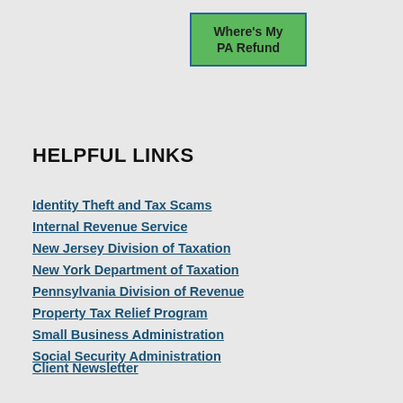[Figure (other): Green button with blue border labeled 'Where's My PA Refund']
HELPFUL LINKS
Identity Theft and Tax Scams
Internal Revenue Service
New Jersey Division of Taxation
New York Department of Taxation
Pennsylvania Division of Revenue
Property Tax Relief Program
Small Business Administration
Social Security Administration
Client Newsletter